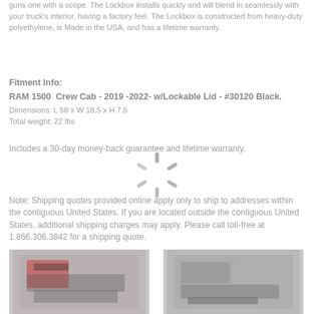guns one with a scope. The Lockbox installs quickly and will blend in seamlessly with your truck's interior, having a factory feel. The Lockbox is constructed from heavy-duty polyethylene, is Made in the USA, and has a lifetime warranty.
Fitment Info:
RAM 1500  Crew Cab - 2019 -2022- w/Lockable Lid - #30120 Black.
Dimensions: L 58 x W 18.5 x H 7.5
Total weight: 22 lbs
Includes a 30-day money-back guarantee and lifetime warranty.
[Figure (other): Loading spinner / activity indicator]
Note: Shipping quotes provided online apply only to ship to addresses within the contiguous United States. If you are located outside the contiguous United States, additional shipping charges may apply. Please call toll-free at 1.866.306.3842 for a shipping quote.
[Figure (photo): Two product photos showing the lockbox installed in a truck]
[Figure (photo): Second product photo of the lockbox installed in a truck]